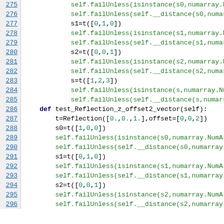[Figure (screenshot): Source code listing showing Python test methods for Reflection class, lines 275-296, with line numbers on left in blue underlined, code in monospace font with syntax highlighting (green for method calls, bold for keywords)]